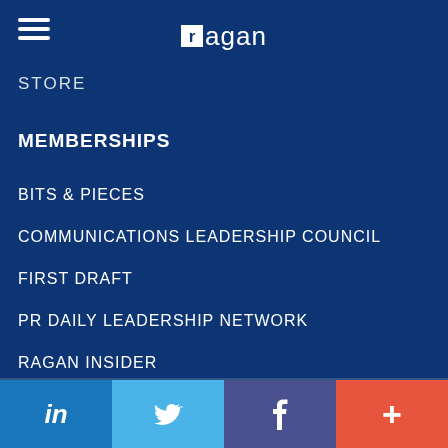ragan
STORE
MEMBERSHIPS
BITS & PIECES
COMMUNICATIONS LEADERSHIP COUNCIL
FIRST DRAFT
PR DAILY LEADERSHIP NETWORK
RAGAN INSIDER
RAGAN TRAINING
WRITER'S PASSPORT
in  Twitter  f  +